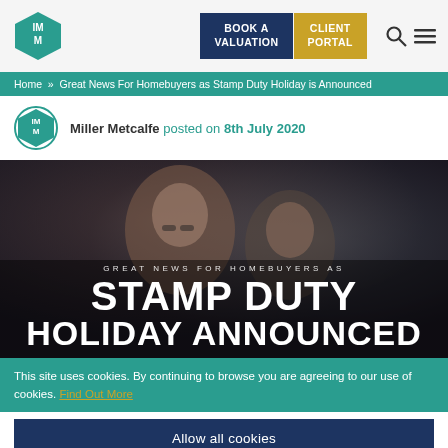Miller Metcalfe — BOOK A VALUATION | CLIENT PORTAL
Home » Great News For Homebuyers as Stamp Duty Holiday is Announced
Miller Metcalfe posted on 8th July 2020
[Figure (photo): Hero image of a couple at home with overlaid text: GREAT NEWS FOR HOMEBUYERS AS STAMP DUTY HOLIDAY ANNOUNCED]
This site uses cookies. By continuing to browse you are agreeing to our use of cookies. Find Out More
Allow all cookies